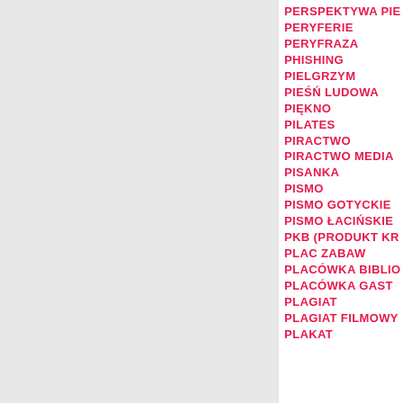PERSPEKTYWA PIE
PERYFERIE
PERYFRAZA
PHISHING
PIELGRZYM
PIEŚŃ LUDOWA
PIĘKNO
PILATES
PIRACTWO
PIRACTWO MEDIA
PISANKA
PISMO
PISMO GOTYCKIE
PISMO ŁACIŃSKIE
PKB (PRODUKT KR
PLAC ZABAW
PLACÓWKA BIBLIO
PLACÓWKA GAST
PLAGIAT
PLAGIAT FILMOWY
PLAKAT